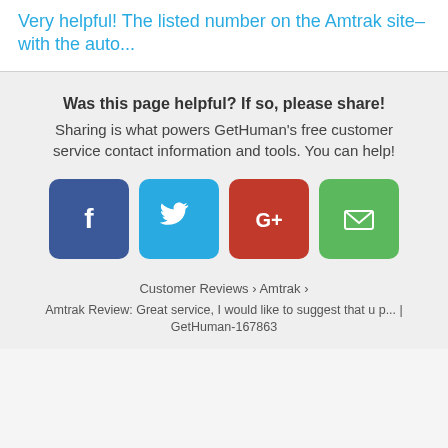Very helpful! The listed number on the Amtrak site– with the auto...
Was this page helpful? If so, please share!
Sharing is what powers GetHuman's free customer service contact information and tools. You can help!
[Figure (infographic): Four social sharing buttons: Facebook (dark blue, f icon), Twitter (light blue, bird icon), Google+ (red, G+ icon), Email (green, envelope icon)]
Customer Reviews › Amtrak ›
Amtrak Review: Great service, I would like to suggest that u p... | GetHuman-167863